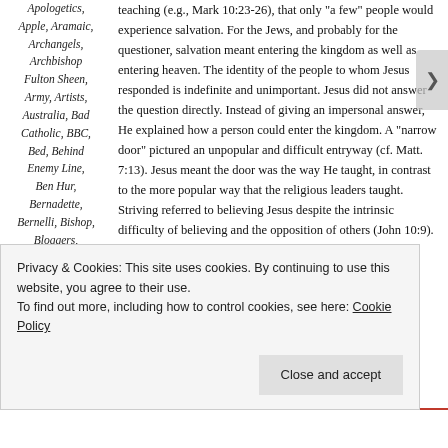Apologetics, Apple, Aramaic, Archangels, Archbishop Fulton Sheen, Army, Artists, Australia, Bad Catholic, BBC, Bed, Behind Enemy Line, Ben Hur, Bernadette, Bernelli, Bishop, Bloggers, Bollywood, Bombay, Brad
teaching (e.g., Mark 10:23-26), that only "a few" people would experience salvation. For the Jews, and probably for the questioner, salvation meant entering the kingdom as well as entering heaven. The identity of the people to whom Jesus responded is indefinite and unimportant. Jesus did not answer the question directly. Instead of giving an impersonal answer, He explained how a person could enter the kingdom. A "narrow door" pictured an unpopular and difficult entryway (cf. Matt. 7:13). Jesus meant the door was the way He taught, in contrast to the more popular way that the religious leaders taught. Striving referred to believing Jesus despite the intrinsic difficulty of believing and the opposition of others (John 10:9).
Privacy & Cookies: This site uses cookies. By continuing to use this website, you agree to their use. To find out more, including how to control cookies, see here: Cookie Policy